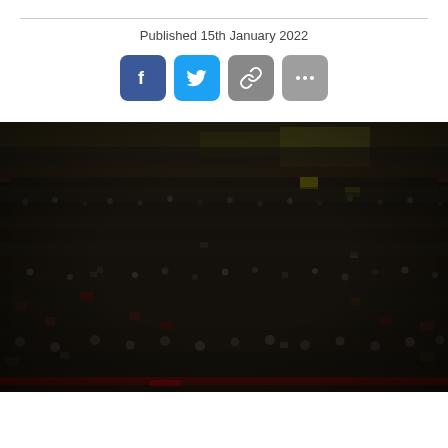Published 15th January 2022
[Figure (infographic): Social sharing buttons: Facebook (blue), Twitter (light blue), Link/chain (grey), More/ellipsis (grey)]
[Figure (photo): A large crowd of football supporters packed into stadium stands, photographed under floodlights at night. The crowd is dense with people wearing mostly dark clothing, with some red and yellow visible. The photo spans the full width of the page.]